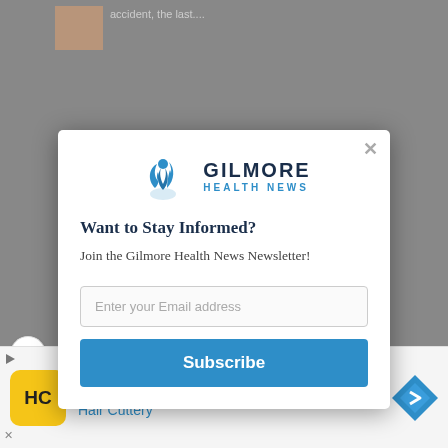[Figure (screenshot): Background webpage content with gray overlay, showing a partial thumbnail image and text snippet reading 'accident, the last...']
[Figure (logo): Gilmore Health News logo with blue flame/person icon and text 'GILMORE HEALTH NEWS']
Want to Stay Informed?
Join the Gilmore Health News Newsletter!
Enter your Email address
Subscribe
[Figure (screenshot): Advertisement banner for Hair Cuttery 'Your Everything Salon' with yellow HC logo icon and blue navigation arrow icon]